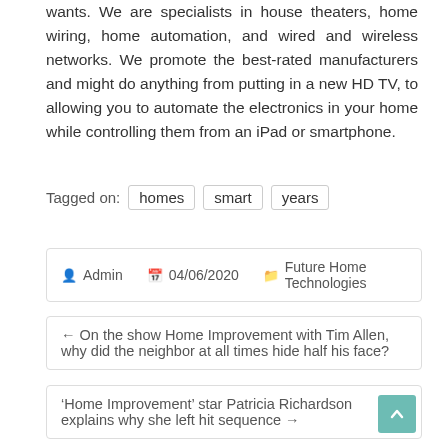wants. We are specialists in house theaters, home wiring, home automation, and wired and wireless networks. We promote the best-rated manufacturers and might do anything from putting in a new HD TV, to allowing you to automate the electronics in your home while controlling them from an iPad or smartphone.
Tagged on: homes  smart  years
Admin  04/06/2020  Future Home Technologies
← On the show Home Improvement with Tim Allen, why did the neighbor at all times hide half his face?
'Home Improvement' star Patricia Richardson explains why she left hit sequence →